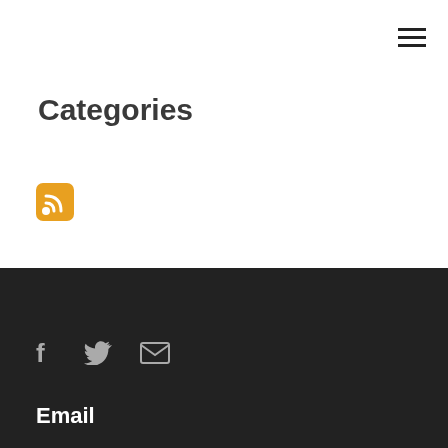[Figure (other): Hamburger menu icon (three horizontal lines) in top-right corner]
Categories
[Figure (other): RSS feed icon - orange square with white RSS symbol]
[Figure (other): Social media icons row: Facebook, Twitter, Email envelope on dark background]
Email